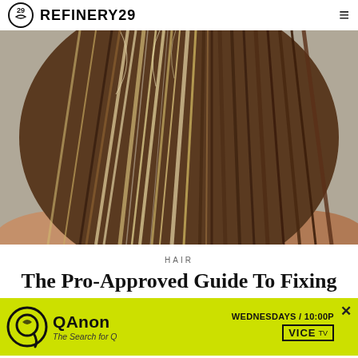REFINERY29
[Figure (photo): Back view of a person with long wet hair spread out, showing blonde and brunette strands against a neutral background]
HAIR
The Pro-Approved Guide To Fixing
[Figure (other): QAnon The Search for Q advertisement banner with yellow-green background. Text: QAnon, WEDNESDAYS / 10:00P, The Search for Q, VICE TV logo]